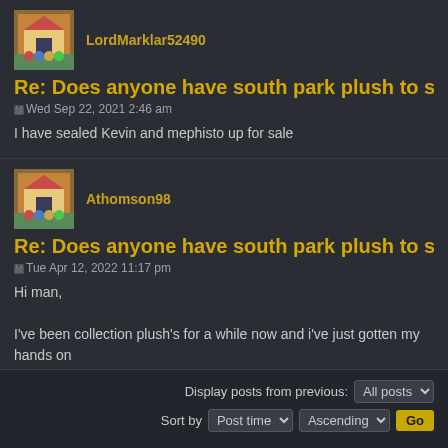LordMarklar52490
Re: Does anyone have south park plush to sell? Please res
Wed Sep 22, 2021 2:46 am
I have sealed Kevin and mephisto up for sale
Athomson98
Re: Does anyone have south park plush to sell? Please res
Tue Apr 12, 2022 11:17 pm
Hi man,

I've been collection plush's for a while now and i've just gotten my hands on
Do you know if there is a list anywhere of all the plushies released?
Display posts from previous: All posts  Sort by Post time  Ascending  Go